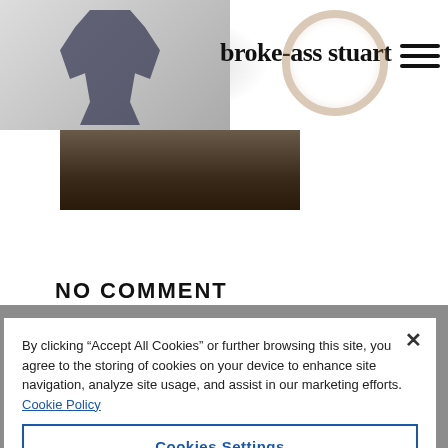broke-ass stuart
[Figure (photo): Article thumbnail image showing an outdoor scene]
NO COMMENT
By clicking “Accept All Cookies” or further browsing this site, you agree to the storing of cookies on your device to enhance site navigation, analyze site usage, and assist in our marketing efforts. Cookie Policy
Cookies Settings
Reject All
Accept All Cookies